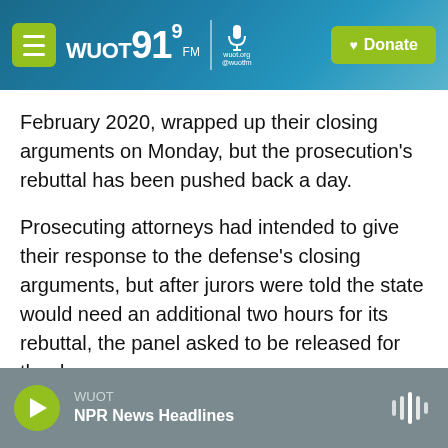[Figure (screenshot): WUOT 91.9 FM radio station website header with logo, menu button, microphone icon, and green Donate button on a teal/blue gradient background]
February 2020, wrapped up their closing arguments on Monday, but the prosecution's rebuttal has been pushed back a day.
Prosecuting attorneys had intended to give their response to the defense's closing arguments, but after jurors were told the state would need an additional two hours for its rebuttal, the panel asked to be released for the day.
They jury was expected to get the case and begin deliberations on Tuesday.
WUOT NPR News Headlines